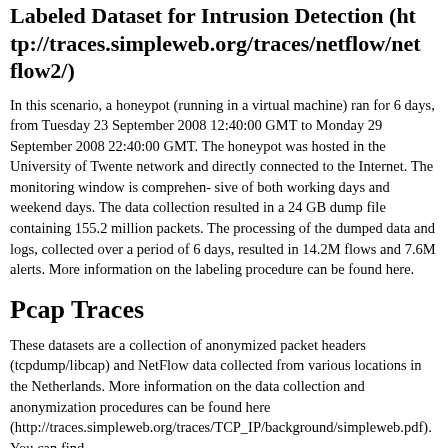Labeled Dataset for Intrusion Detection (http://traces.simpleweb.org/traces/netflow/netflow2/)
In this scenario, a honeypot (running in a virtual machine) ran for 6 days, from Tuesday 23 September 2008 12:40:00 GMT to Monday 29 September 2008 22:40:00 GMT. The honeypot was hosted in the University of Twente network and directly connected to the Internet. The monitoring window is comprehen- sive of both working days and weekend days. The data collection resulted in a 24 GB dump file containing 155.2 million packets. The processing of the dumped data and logs, collected over a period of 6 days, resulted in 14.2M flows and 7.6M alerts. More information on the labeling procedure can be found here.
Pcap Traces
These datasets are a collection of anonymized packet headers (tcpdump/libcap) and NetFlow data collected from various locations in the Netherlands. More information on the data collection and anonymization procedures can be found here (http://traces.simpleweb.org/traces/TCP_IP/background/simpleweb.pdf). You can find